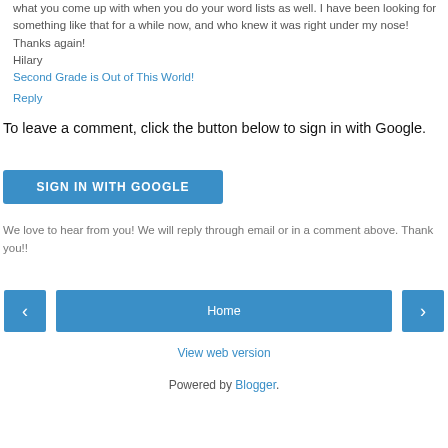what you come up with when you do your word lists as well. I have been looking for something like that for a while now, and who knew it was right under my nose! Thanks again!
Hilary
Second Grade is Out of This World!
Reply
To leave a comment, click the button below to sign in with Google.
SIGN IN WITH GOOGLE
We love to hear from you! We will reply through email or in a comment above. Thank you!!
< Home > View web version Powered by Blogger.